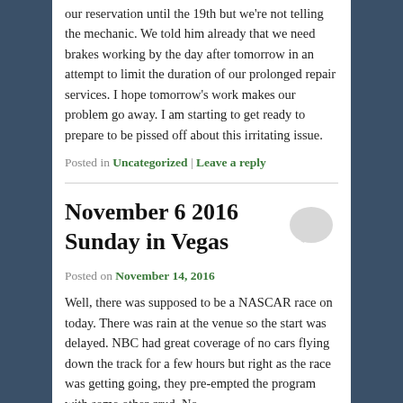our reservation until the 19th but we're not telling the mechanic. We told him already that we need brakes working by the day after tomorrow in an attempt to limit the duration of our prolonged repair services. I hope tomorrow's work makes our problem go away. I am starting to get ready to prepare to be pissed off about this irritating issue.
Posted in Uncategorized | Leave a reply
November 6 2016 Sunday in Vegas
Posted on November 14, 2016
Well, there was supposed to be a NASCAR race on today. There was rain at the venue so the start was delayed. NBC had great coverage of no cars flying down the track for a few hours but right as the race was getting going, they pre-empted the program with some other crud. No